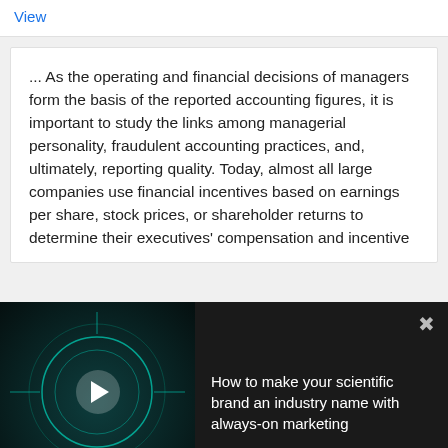View
... As the operating and financial decisions of managers form the basis of the reported accounting figures, it is important to study the links among managerial personality, fraudulent accounting practices, and, ultimately, reporting quality. Today, almost all large companies use financial incentives based on earnings per share, stock prices, or shareholder returns to determine their executives' compensation and incentive
[Figure (screenshot): Dark popup overlay with video thumbnail on left showing teal/cyan circuit board design with text 'HOW TO MAKE YOUR SCIENTIFIC BRAND AN INDUSTRY NAME WITH ALWAYS-ON MARKETING', play button in center, and text on right side reading 'How to make your scientific brand an industry name with always-on marketing', with close X button top right]
[Figure (illustration): Small yellow-green thumbnail image of biopharma infographic with building/capitol dome illustration]
What does the future hold for biopharma?